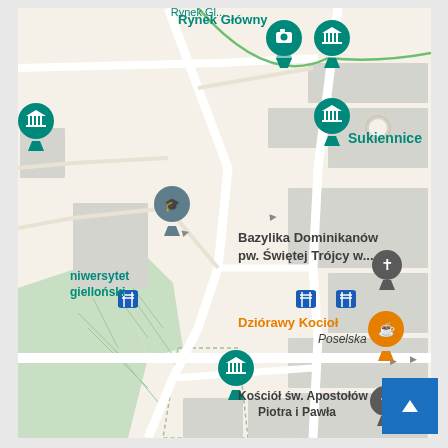[Figure (map): Google Maps screenshot showing a portion of Kraków, Poland, centered around Rynek Główny (Main Market Square) area. Visible landmarks include Sukiennice, Bazylika Dominikanów pw. Świętej Trójcy w..., Kościół św. Apostołów Piotra i Pawła, Dziórawy Kocioł café, Uniwersytet Jagielloński. The map shows roads, green park areas, gray building blocks, teal museum pins, a gray university pin, an orange café pin, a cross marker for the basilica, and blue bus stop markers. A street named Poselska is visible.]